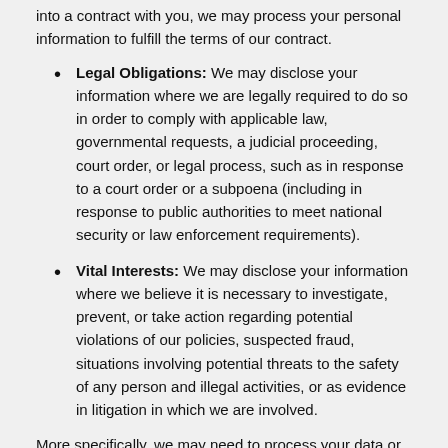into a contract with you, we may process your personal information to fulfill the terms of our contract.
Legal Obligations: We may disclose your information where we are legally required to do so in order to comply with applicable law, governmental requests, a judicial proceeding, court order, or legal process, such as in response to a court order or a subpoena (including in response to public authorities to meet national security or law enforcement requirements).
Vital Interests: We may disclose your information where we believe it is necessary to investigate, prevent, or take action regarding potential violations of our policies, suspected fraud, situations involving potential threats to the safety of any person and illegal activities, or as evidence in litigation in which we are involved.
More specifically, we may need to process your data or share your personal information in the following situations: